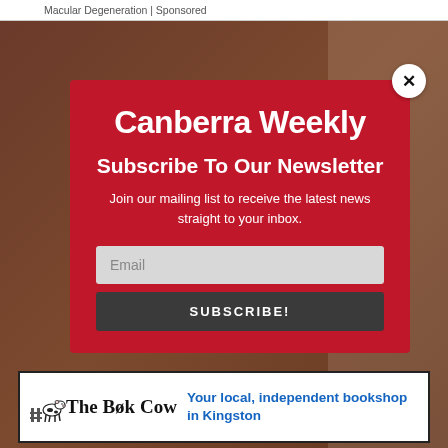Macular Degeneration | Sponsored
[Figure (screenshot): Canberra Weekly newsletter subscription modal overlay on a dark brownish background image. The modal is red with white text showing the Canberra Weekly logo, a Subscribe To Our Newsletter heading, body text, an email input field, and a SUBSCRIBE! button. A close (X) button appears in the top-right corner of the modal.]
1 S
Ran
Healt
[Figure (advertisement): The Book Cow advertisement banner. Shows 'The Book Cow' logo text with a small cow illustration, and tagline 'Your local, independent bookshop in Kingston' in blue text.]